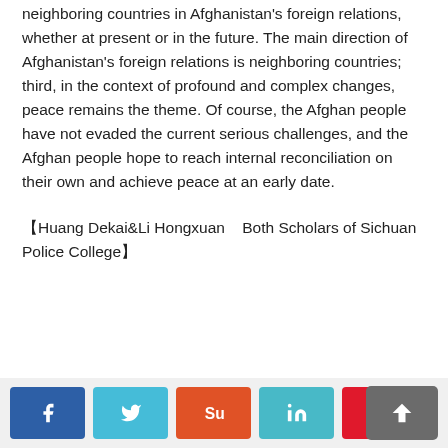neighboring countries in Afghanistan's foreign relations, whether at present or in the future. The main direction of Afghanistan's foreign relations is neighboring countries; third, in the context of profound and complex changes, peace remains the theme. Of course, the Afghan people have not evaded the current serious challenges, and the Afghan people hope to reach internal reconciliation on their own and achieve peace at an early date.
【Huang Dekai&Li Hongxuan    Both Scholars of Sichuan Police College】
Social share buttons: Facebook, Twitter, StumbleUpon, LinkedIn, Pinterest. Back to top button.